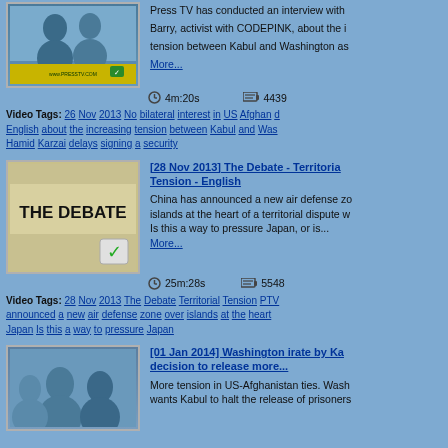[Figure (screenshot): Thumbnail image of a Press TV video showing two people]
Press TV has conducted an interview with Barry, activist with CODEPINK, about the increasing tension between Kabul and Washington as... More...
4m:20s   4439
Video Tags: 26 Nov 2013 No bilateral interest in US Afghan deal English about the increasing tension between Kabul and Washington as Hamid Karzai delays signing a security
[Figure (screenshot): Thumbnail of The Debate show logo with checkmark overlay]
[28 Nov 2013] The Debate - Territorial Tension - English
China has announced a new air defense zone over islands at the heart of a territorial dispute with Japan. Is this a way to pressure Japan, or is... More...
25m:28s   5548
Video Tags: 28 Nov 2013 The Debate Territorial Tension PTV announced a new air defense zone over islands at the heart of Japan Is this a way to pressure Japan
[Figure (screenshot): Thumbnail of a Press TV video about Washington and Karzai]
[01 Jan 2014] Washington irate by Karzai's decision to release more...
More tension in US-Afghanistan ties. Washington wants Kabul to halt the release of prisoners...